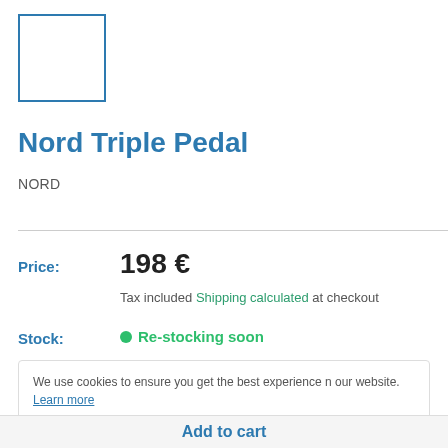[Figure (other): Empty product image placeholder — white square with blue border]
Nord Triple Pedal
NORD
Price:
198 €
Tax included Shipping calculated at checkout
Stock:
Re-stocking soon
We use cookies to ensure you get the best experience n our website. Learn more
Got it
Add to cart